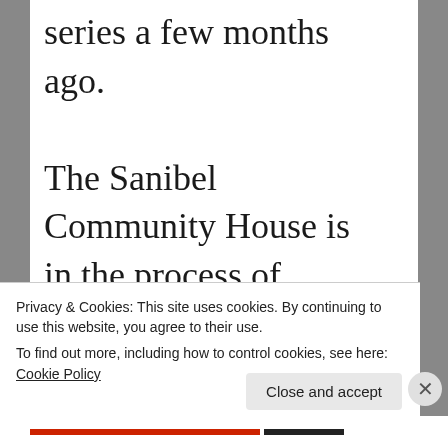series a few months ago. The Sanibel Community House is in the process of raising funds for a major renovation which will include a large
Privacy & Cookies: This site uses cookies. By continuing to use this website, you agree to their use.
To find out more, including how to control cookies, see here: Cookie Policy
Close and accept